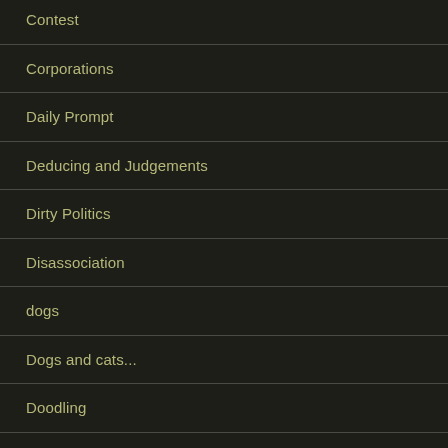Contest
Corporations
Daily Prompt
Deducing and Judgements
Dirty Politics
Disassociation
dogs
Dogs and cats...
Doodling
Doors and Portals
Dragons